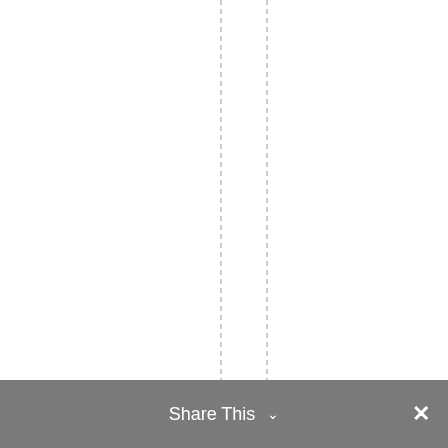orandfaunaoftheTableRocks.Bin
Share This ∨  ✕